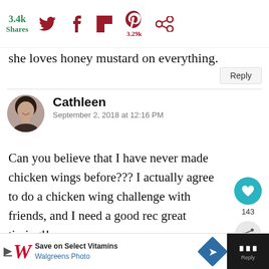3.4k Shares | Twitter | Facebook | Flipboard | Pinterest 3.29k | Other
she loves honey mustard on everything.
Reply
Cathleen
September 2, 2018 at 12:16 PM
Can you believe that I have never made chicken wings before??? I actually agreed to do a chicken wing challenge with friends, and I need a good recipe – great timing!!
[Figure (screenshot): Floating UI elements: heart/like button showing 143 likes, share button]
[Figure (screenshot): WHAT'S NEXT promo: thumbnail image with text 'Baked Beer Chicken Leg...']
[Figure (screenshot): Advertisement bar: Walgreens Photo - Save on Select Vitamins]